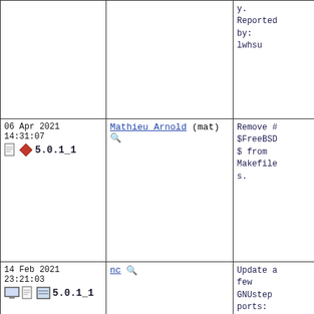| Date/Version | Committer | Message |
| --- | --- | --- |
|  |  | y.
Reported by:
lwhsu |
| 06 Apr 2021 14:31:07
5.0.1_1 | Mathieu Arnold (mat) | Remove #$FreeBSD$ from Makefiles. |
| 14 Feb 2021 23:21:03
5.0.1_1 | nc | Update a few GNUstep ports:

* devel/gnustep-make: Update to 2.8.0
* lang/gnustep-base: Update to 1.27.0
* x11-toolkits |